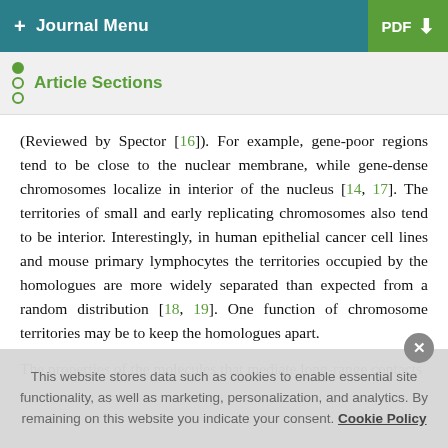+ Journal Menu | PDF ↓
Article Sections
(Reviewed by Spector [16]). For example, gene-poor regions tend to be close to the nuclear membrane, while gene-dense chromosomes localize in interior of the nucleus [14, 17]. The territories of small and early replicating chromosomes also tend to be interior. Interestingly, in human epithelial cancer cell lines and mouse primary lymphocytes the territories occupied by the homologues are more widely separated than expected from a random distribution [18, 19]. One function of chromosome territories may be to keep the homologues apart.
The properties of the molecules that mediate long-range contacts between cell lines and cell lines being...
This website stores data such as cookies to enable essential site functionality, as well as marketing, personalization, and analytics. By remaining on this website you indicate your consent. Cookie Policy